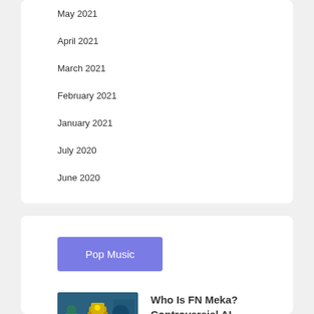May 2021
April 2021
March 2021
February 2021
January 2021
July 2020
June 2020
[Figure (other): Purple button labeled Pop Music]
[Figure (photo): Thumbnail image of FN Meka, AI rapper character in colorful digital setting]
Who Is FN Meka? Controversial AI Rapper Explained